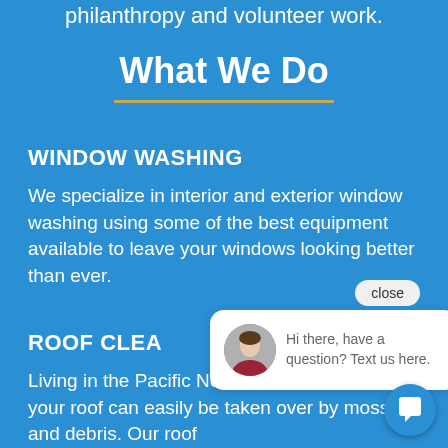philanthropy and volunteer work.
What We Do
WINDOW WASHING
We specialize in interior and exterior window washing using some of the best equipment available to leave your windows looking better than ever.
ROOF CLEA
Living in the Pacific Northwest means that your roof can easily be taken over by moss and debris. Our roof cleaning techniques and equipment will help
[Figure (screenshot): Chat popup with avatar photo, close button, and message: Hi there, have a question? Text us here. A circular chat icon button is visible in the bottom right corner.]